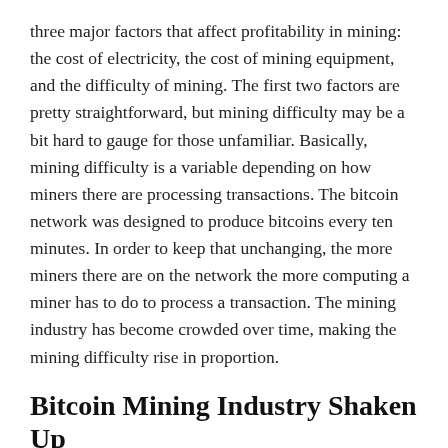three major factors that affect profitability in mining: the cost of electricity, the cost of mining equipment, and the difficulty of mining. The first two factors are pretty straightforward, but mining difficulty may be a bit hard to gauge for those unfamiliar. Basically, mining difficulty is a variable depending on how miners there are processing transactions. The bitcoin network was designed to produce bitcoins every ten minutes. In order to keep that unchanging, the more miners there are on the network the more computing a miner has to do to process a transaction. The mining industry has become crowded over time, making the mining difficulty rise in proportion.
Bitcoin Mining Industry Shaken Up
Why is this relevant now? Because a few recent developments have led to a bit of a reckoning in the mining industry. For a while, it seemed like the days of the small-